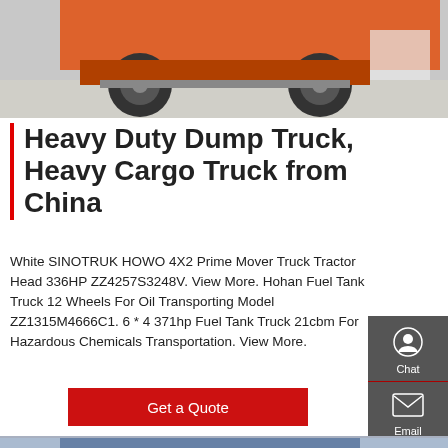[Figure (photo): Top portion of an orange/red heavy duty truck/tractor unit, showing front wheels and chassis on a paved surface]
Heavy Duty Dump Truck, Heavy Cargo Truck from China
White SINOTRUK HOWO 4X2 Prime Mover Truck Tractor Head 336HP ZZ4257S3248V. View More. Hohan Fuel Tank Truck 12 Wheels For Oil Transporting Model ZZ1315M4666C1. 6 * 4 371hp Fuel Tank Truck 21cbm For Hazardous Chemicals Transportation. View More.
[Figure (infographic): Chat icon with label Chat, Email icon with label Email, Contact speech bubble icon with label Contact, Up arrow icon with label Top — sidebar navigation]
Get a Quote
[Figure (photo): Bottom portion showing a blue heavy cargo dump truck body with crane/equipment and trees in background]